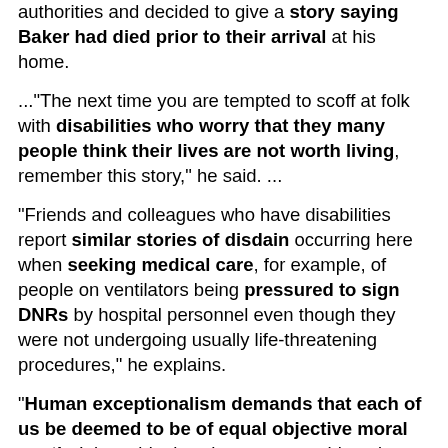authorities and decided to give a story saying Baker had died prior to their arrival at his home.
..."The next time you are tempted to scoff at folk with disabilities who worry that they many people think their lives are not worth living, remember this story," he said. ...
"Friends and colleagues who have disabilities report similar stories of disdain occurring here when seeking medical care, for example, of people on ventilators being pressured to sign DNRs by hospital personnel even though they were not undergoing usually life-threatening procedures," he explains.
"Human exceptionalism demands that each of us be deemed to be of equal objective moral worth. It is an ideal we have never achieved, admittedly. But unless bigotry against people with disabilities is especially shocking when it